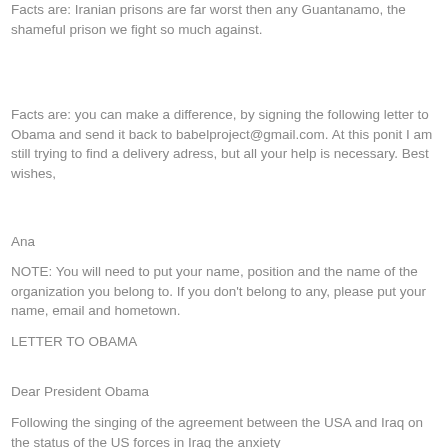Facts are: Iranian prisons are far worst then any Guantanamo, the shameful prison we fight so much against.
Facts are: you can make a difference, by signing the following letter to Obama and send it back to babelproject@gmail.com. At this ponit I am still trying to find a delivery adress, but all your help is necessary. Best wishes,
Ana
NOTE: You will need to put your name, position and the name of the organization you belong to. If you don't belong to any, please put your name, email and hometown.
LETTER TO OBAMA
Dear President Obama
Following the singing of the agreement between the USA and Iraq on the status of the US forces in Iraq the anxiety